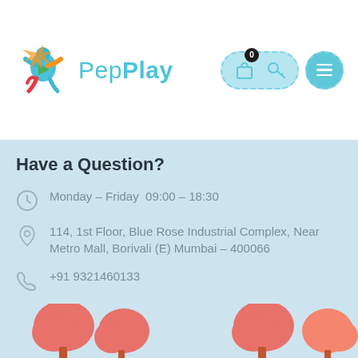[Figure (logo): PepPlay logo with colorful star/figure icon and teal text]
Have a Question?
Monday - Friday  09:00 - 18:30
114, 1st Floor, Blue Rose Industrial Complex, Near Metro Mall, Borivali (E) Mumbai – 400066
+91 9321460133
sales@pepplay.in
Payment Options
[Figure (other): Payment option logos: Maestro, MasterCard, VISA, PayPal]
[Figure (illustration): Decorative cartoon trees at the bottom of the page]